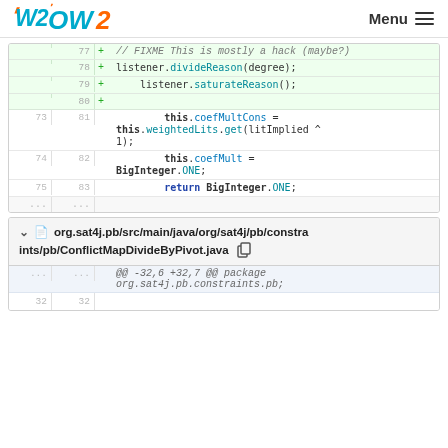OW2 Menu
[Figure (screenshot): Code diff block showing lines 77-80 (added, green background) and lines 73-75/81-83 (normal). Added lines show: // FIXME This is mostly a hack (maybe?), blank, listener.divideReason(degree);, listener.saturateReason();, blank. Normal lines show: this.coefMultCons = this.weightedLits.get(litImplied ^ 1);, this.coefMult = BigInteger.ONE;, return BigInteger.ONE;, ...]
org.sat4j.pb/src/main/java/org/sat4j/pb/constraints/pb/ConflictMapDivideByPivot.java
@@ -32,6 +32,7 @@ package org.sat4j.pb.constraints.pb;
32   32